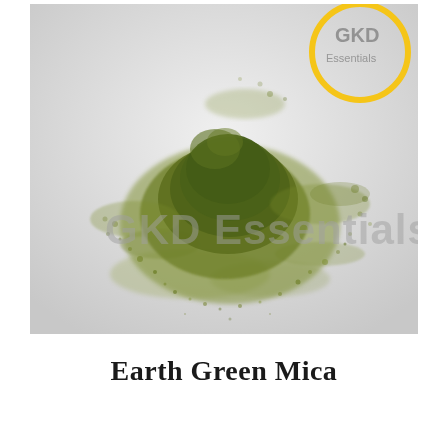[Figure (photo): Photo of earth green mica powder scattered on a white surface. The powder is olive/dark green in color, piled in the center with fine particles spreading outward. A yellow circular logo watermark with 'GKD Essentials' text is overlaid in the top-right corner. A gray watermark text reading 'GKD Essentials' appears in large letters across the lower portion of the image.]
Earth Green Mica